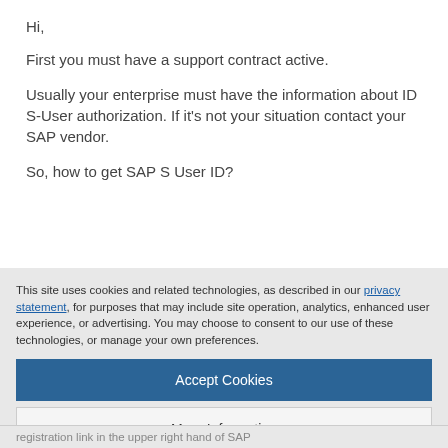Hi,
First you must have a support contract active.
Usually your enterprise must have the information about ID S-User authorization. If it’s not your situation contact your SAP vendor.
So, how to get SAP S User ID?
This site uses cookies and related technologies, as described in our privacy statement, for purposes that may include site operation, analytics, enhanced user experience, or advertising. You may choose to consent to our use of these technologies, or manage your own preferences.
Accept Cookies
More Information
Privacy Policy | Powered by: TrustArc
registration link in the upper right hand of SAP